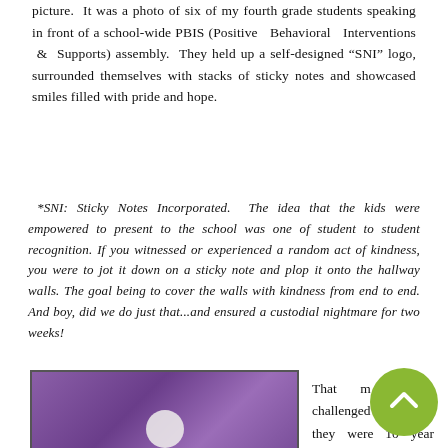picture. It was a photo of six of my fourth grade students speaking in front of a school-wide PBIS (Positive Behavioral Interventions & Supports) assembly. They held up a self-designed "SNI" logo, surrounded themselves with stacks of sticky notes and showcased smiles filled with pride and hope.
*SNI: Sticky Notes Incorporated. The idea that the kids were empowered to present to the school was one of student to student recognition. If you witnessed or experienced a random act of kindness, you were to jot it down on a sticky note and plop it onto the hallway walls. The goal being to cover the walls with kindness from end to end. And boy, did we do just that...and ensured a custodial nightmare for two weeks!
[Figure (photo): A photo with a purple background, showing a white circular object at the bottom center, likely students at a PBIS event.]
That m challenged me. s, they were 10 year olds